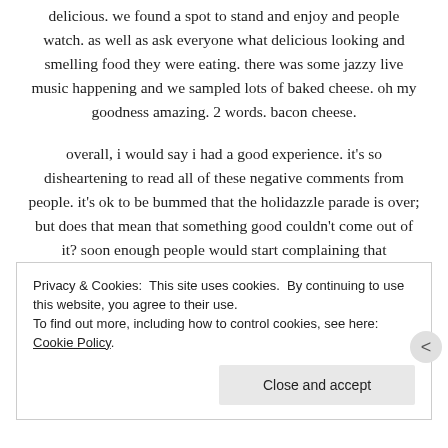delicious. we found a spot to stand and enjoy and people watch. as well as ask everyone what delicious looking and smelling food they were eating. there was some jazzy live music happening and we sampled lots of baked cheese. oh my goodness amazing. 2 words. bacon cheese.
overall, i would say i had a good experience. it's so disheartening to read all of these negative comments from people. it's ok to be bummed that the holidazzle parade is over; but does that mean that something good couldn't come out of it? soon enough people would start complaining that minneapolis never does anything new. was it crowded on the weekends? absolutely; but isn't that a good thing? isn't it great to see people participating in
Privacy & Cookies: This site uses cookies. By continuing to use this website, you agree to their use. To find out more, including how to control cookies, see here: Cookie Policy